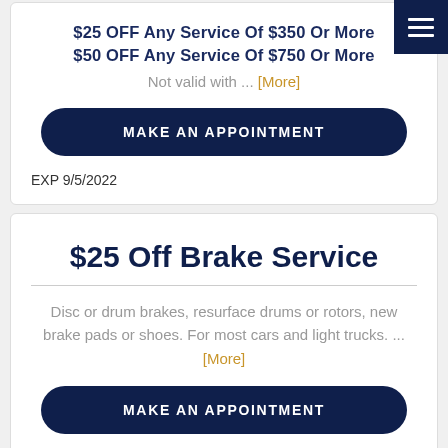$25 OFF Any Service Of $350 Or More
$50 OFF Any Service Of $750 Or More
Not valid with ... [More]
MAKE AN APPOINTMENT
EXP 9/5/2022
$25 Off Brake Service
Disc or drum brakes, resurface drums or rotors, new brake pads or shoes. For most cars and light trucks. ... [More]
MAKE AN APPOINTMENT